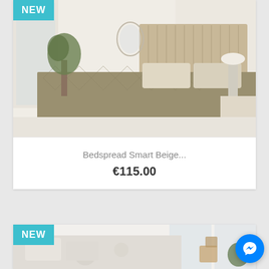[Figure (photo): Bedroom scene with beige/olive quilted bedspread and tall upholstered headboard. 'NEW' badge in top-left corner.]
Bedspread Smart Beige...
€115.00
[Figure (photo): Bedroom scene with light grey/white floral bedspread and pillows. 'NEW' badge in top-left corner.]